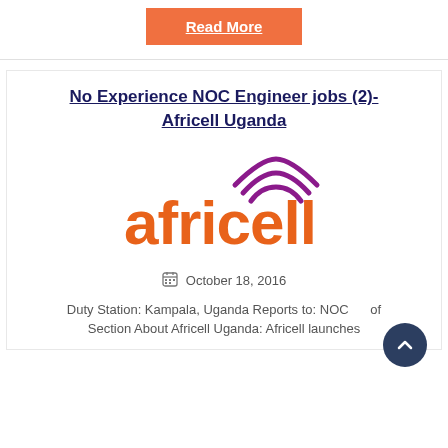Read More
No Experience NOC Engineer jobs (2)- Africell Uganda
[Figure (logo): Africell logo — orange text 'africell' with purple wifi signal arcs above the letter 'e']
October 18, 2016
Duty Station: Kampala, Uganda Reports to: NOC of Section About Africell Uganda: Africell launches